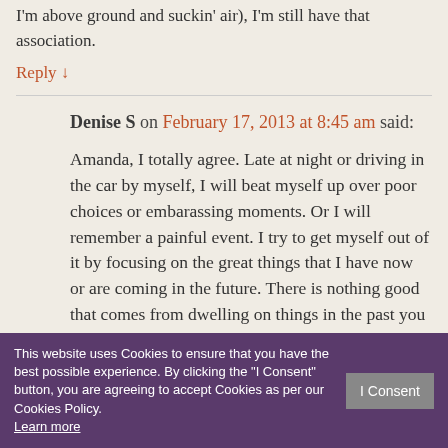I'm above ground and suckin' air), I'm still have that association.
Reply ↓
Denise S on February 17, 2013 at 8:45 am said:
Amanda, I totally agree. Late at night or driving in the car by myself, I will beat myself up over poor choices or embarassing moments. Or I will remember a painful event. I try to get myself out of it by focusing on the great things that I have now or are coming in the future. There is nothing good that comes from dwelling on things in the past you can't change or ... myself stronger from whatever it was. Interesting
This website uses Cookies to ensure that you have the best possible experience. By clicking the "I Consent" button, you are agreeing to accept Cookies as per our Cookies Policy. Learn more